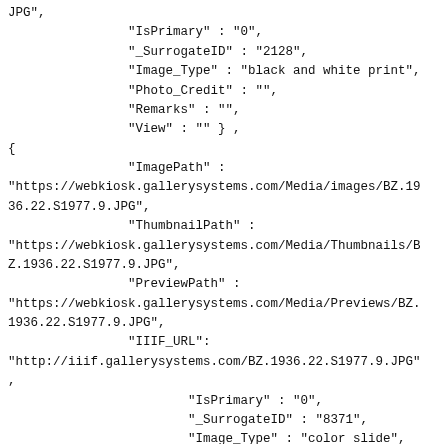JPG",
                "IsPrimary" : "0",
                "_SurrogateID" : "2128",
                "Image_Type" : "black and white print",
                "Photo_Credit" : "",
                "Remarks" : "",
                "View" : "" } ,
{
                "ImagePath" :
"https://webkiosk.gallerysystems.com/Media/images/BZ.1936.22.S1977.9.JPG",
                "ThumbnailPath" :
"https://webkiosk.gallerysystems.com/Media/Thumbnails/BZ.1936.22.S1977.9.JPG",
                "PreviewPath" :
"https://webkiosk.gallerysystems.com/Media/Previews/BZ.1936.22.S1977.9.JPG",
                "IIIF_URL":
"http://iiif.gallerysystems.com/BZ.1936.22.S1977.9.JPG"
,
                        "IsPrimary" : "0",
                        "_SurrogateID" : "8371",
                        "Image_Type" : "color slide",
                        "Photo_Credit" : "",
                        "Remarks" : "",
                        "View" : "" } ,           ]
                        },
        ]
}